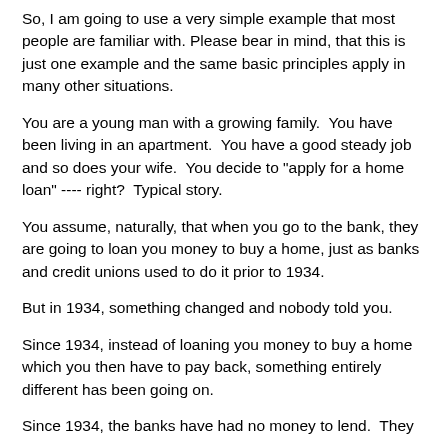So, I am going to use a very simple example that most people are familiar with. Please bear in mind, that this is just one example and the same basic principles apply in many other situations.
You are a young man with a growing family.  You have been living in an apartment.  You have a good steady job and so does your wife.  You decide to "apply for a home loan" ---- right?  Typical story.
You assume, naturally, that when you go to the bank, they are going to loan you money to buy a home, just as banks and credit unions used to do it prior to 1934.
But in 1934, something changed and nobody told you.
Since 1934, instead of loaning you money to buy a home which you then have to pay back, something entirely different has been going on.
Since 1934, the banks have had no money to lend.  They